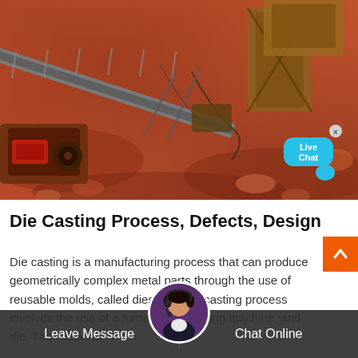[Figure (photo): Aerial/overhead view of industrial mining/crushing equipment and conveyor belt machinery on reddish dirt terrain. Includes a Live Chat bubble overlay in the upper right area of the image.]
Die Casting Process, Defects, Design
Die casting is a manufacturing process that can produce geometrically complex metal parts through the use of reusable molds, called dies. The die casting process involves the use of a furna…, die casting machine, and die. The metal, …
Leave Message
Chat Online